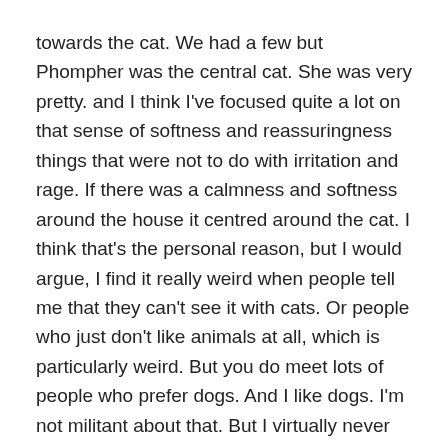towards the cat. We had a few but Phompher was the central cat. She was very pretty. and I think I've focused quite a lot on that sense of softness and reassuringness things that were not to do with irritation and rage. If there was a calmness and softness around the house it centred around the cat. I think that's the personal reason, but I would argue, I find it really weird when people tell me that they can't see it with cats. Or people who just don't like animals at all, which is particularly weird. But you do meet lots of people who prefer dogs. And I like dogs. I'm not militant about that. But I virtually never see a dog and feel that Egyptian thing of essentially being in awe of this creature. It's to do with the incredible symmetry of a cat's face, it is a cartoon image of a cute face.
I've heard other people say this, but it is amazing, that cats are the...